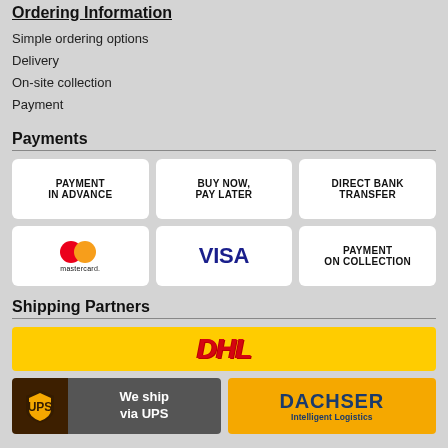Ordering Information
Simple ordering options
Delivery
On-site collection
Payment
Payments
[Figure (logo): Payment method logos: Payment In Advance, Buy Now Pay Later, Direct Bank Transfer, Mastercard, Visa, Payment On Collection]
Shipping Partners
[Figure (logo): Shipping partner logos: DHL, UPS (We ship via UPS), DACHSER Intelligent Logistics]